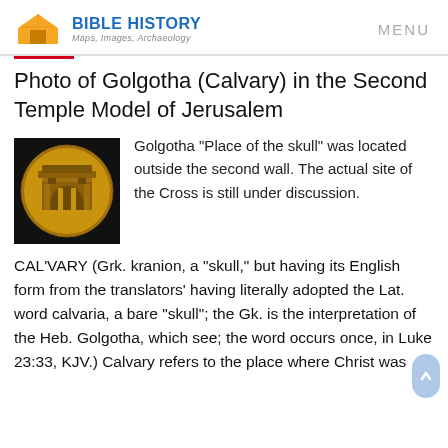BIBLE HISTORY Maps, Images, Archaeology — MENU
Photo of Golgotha (Calvary) in the Second Temple Model of Jerusalem
[Figure (photo): Circular gold relief showing ancient Jerusalem temple gate architecture]
Golgotha "Place of the skull" was located outside the second wall. The actual site of the Cross is still under discussion.
CAL'VARY (Grk. kranion, a "skull," but having its English form from the translators' having literally adopted the Lat. word calvaria, a bare "skull"; the Gk. is the interpretation of the Heb. Golgotha, which see; the word occurs once, in Luke 23:33, KJV.) Calvary refers to the place where Christ was